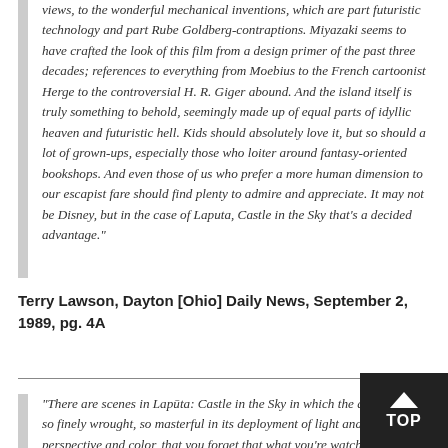views, to the wonderful mechanical inventions, which are part futuristic technology and part Rube Goldberg-contraptions. Miyazaki seems to have crafted the look of this film from a design primer of the past three decades; references to everything from Moebius to the French cartoonist Herge to the controversial H. R. Giger abound. And the island itself is truly something to behold, seemingly made up of equal parts of idyllic heaven and futuristic hell. Kids should absolutely love it, but so should a lot of grown-ups, especially those who loiter around fantasy-oriented bookshops. And even those of us who prefer a more human dimension to our escapist fare should find plenty to admire and appreciate. It may not be Disney, but in the case of Laputa, Castle in the Sky that's a decided advantage."
Terry Lawson, Dayton [Ohio] Daily News, September 2, 1989, pg. 4A
"There are scenes in Lapūta: Castle in the Sky in which the animation is so finely wrought, so masterful in its deployment of light and shadow, perspective and color, that you forget that what you're watching is a cartoon. Roiling thunderclouds